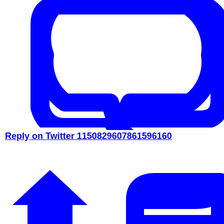[Figure (illustration): Blue speech bubble / comment icon with a chat bubble outline and a diagonal tail pointing down-right]
Reply on Twitter 1150829607861596160
[Figure (illustration): Blue retweet/share icon showing an upward arrow and a rounded rectangular path, partially visible at bottom of page]